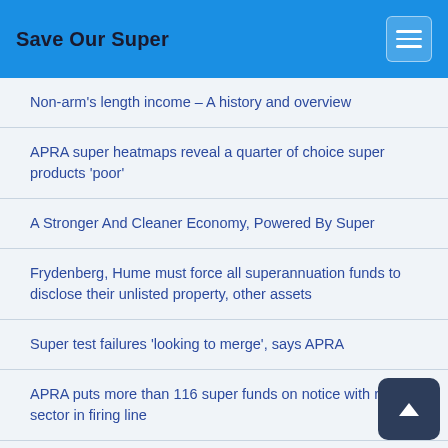Save Our Super
Non-arm's length income – A history and overview
APRA super heatmaps reveal a quarter of choice super products 'poor'
A Stronger And Cleaner Economy, Powered By Super
Frydenberg, Hume must force all superannuation funds to disclose their unlisted property, other assets
Super test failures 'looking to merge', says APRA
APRA puts more than 116 super funds on notice with retail sector in firing line
How to future proof your super
Seven things we learned from the first superannuation 's... file'